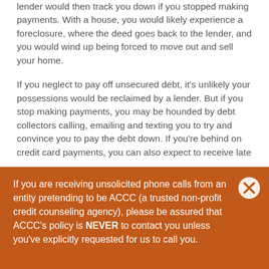lender would then track you down if you stopped making payments. With a house, you would likely experience a foreclosure, where the deed goes back to the lender, and you would wind up being forced to move out and sell your home.
If you neglect to pay off unsecured debt, it's unlikely your possessions would be reclaimed by a lender. But if you stop making payments, you may be hounded by debt collectors calling, emailing and texting you to try and convince you to pay the debt down. If you're behind on credit card payments, you can also expect to receive late
If you are receiving unsolicited phone calls from an entity pretending to be ACCC (a trusted non-profit credit counseling agency), please be assured that ACCC's policy is NEVER to contact you unless you've explicitly requested for us to call you.